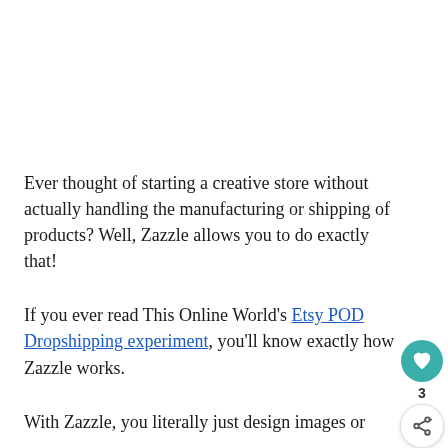Ever thought of starting a creative store without actually handling the manufacturing or shipping of products? Well, Zazzle allows you to do exactly that!
If you ever read This Online World's Etsy POD Dropshipping experiment, you'll know exactly how Zazzle works.
With Zazzle, you literally just design images or